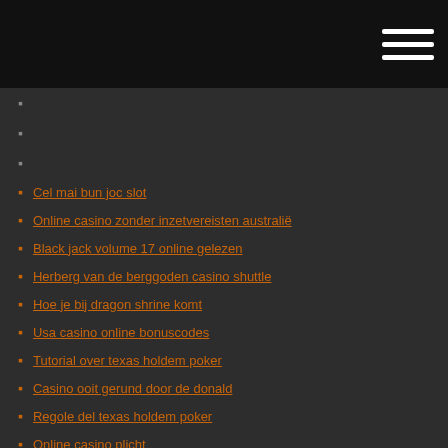Cel mai bun joc slot
Online casino zonder inzetvereisten australië
Black jack volume 17 online gelezen
Herberg van de berggoden casino shuttle
Hoe je bij dragon shrine komt
Usa casino online bonuscodes
Tutorial over texas holdem poker
Casino ooit gerund door de donald
Regole del texas holdem poker
Online casino plicht
Stelen toegangsdeur met brievenbus